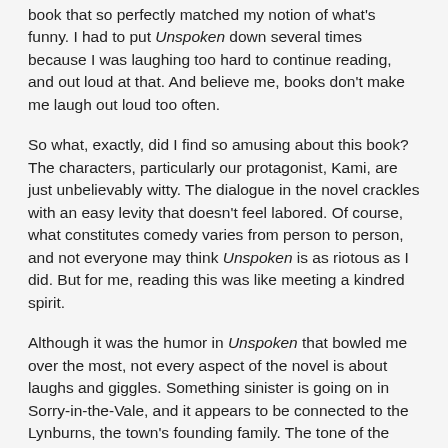book that so perfectly matched my notion of what's funny. I had to put Unspoken down several times because I was laughing too hard to continue reading, and out loud at that. And believe me, books don't make me laugh out loud too often.
So what, exactly, did I find so amusing about this book? The characters, particularly our protagonist, Kami, are just unbelievably witty. The dialogue in the novel crackles with an easy levity that doesn't feel labored. Of course, what constitutes comedy varies from person to person, and not everyone may think Unspoken is as riotous as I did. But for me, reading this was like meeting a kindred spirit.
Although it was the humor in Unspoken that bowled me over the most, not every aspect of the novel is about laughs and giggles. Something sinister is going on in Sorry-in-the-Vale, and it appears to be connected to the Lynburns, the town's founding family. The tone of the book effortlessly shifts from light to chilling; it could be very creepy at times, yet without feeling like too much of a departure from the story's droller moments. I am just in awe of how Sarah Rees Brennan weaved a dark, paranormal tale with hilarity...